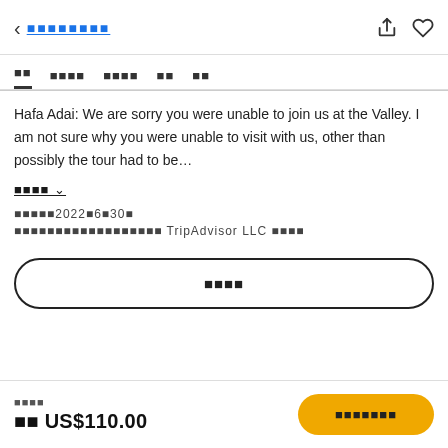< ░░░░░░░░
░░ ░░░░ ░░░░ ░░ ░░
Hafa Adai: We are sorry you were unable to join us at the Valley. I am not sure why you were unable to visit with us, other than possibly the tour had to be…
░░░░ ∨
░░░░░2022░6░30░
░░░░░░░░░░░░░░░░░░░░ TripAdvisor LLC ░░░░
░░░░
░░░░
░░ US$110.00
░░░░░░░